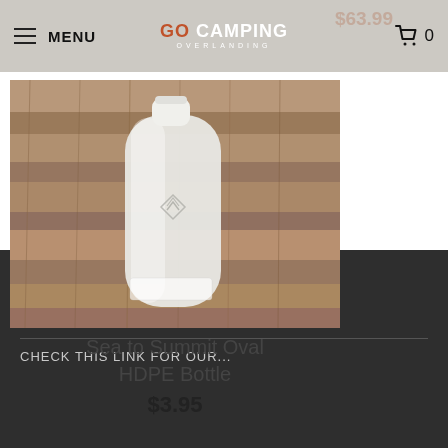GO CAMPING OVERLANDING — MENU — Cart 0
[Figure (photo): Sea to Summit Oval HDPE Bottle product photo — a translucent white plastic oval bottle with a white cap and a small embossed diamond logo, placed against a wooden background]
Sea to Summit Oval HDPE Bottle
$3.95
(08) 9344 6252
Unit 9/58 Erindale Rd, Balcatta WA 6021
CHECK THIS LINK FOR OUR...